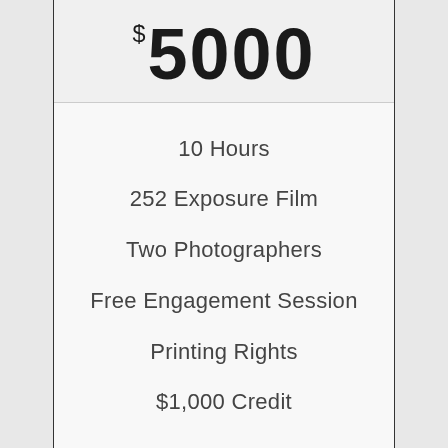$5000
10 Hours
252 Exposure Film
Two Photographers
Free Engagement Session
Printing Rights
$1,000 Credit